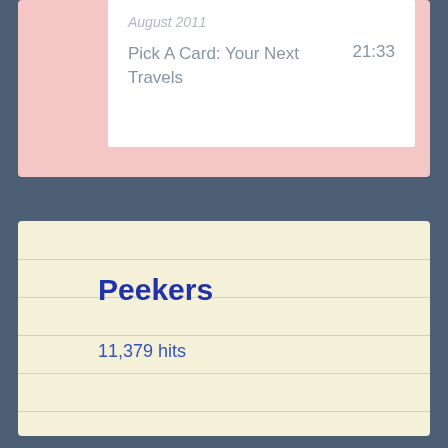August 2011
Pick A Card: Your Next Travels	21:33
Peekers
11,379 hits
In Parallel Worlds: